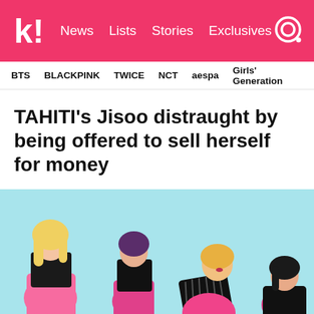k! News Lists Stories Exclusives
BTS BLACKPINK TWICE NCT aespa Girls' Generation
TAHITI's Jisoo distraught by being offered to sell herself for money
[Figure (photo): K-pop group TAHITI members posing in pink leather pants and black tops against a light blue background]